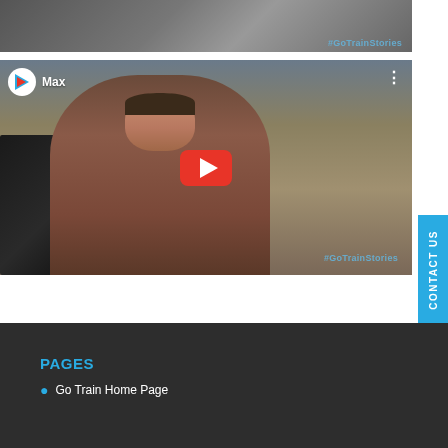[Figure (screenshot): Cropped top portion of a video thumbnail showing a person in a floral outfit with #GoTrainStories watermark]
[Figure (screenshot): YouTube video thumbnail showing a man named Max in a maroon hoodie sitting in an office/classroom, with gotrain logo in top-left, YouTube play button in center, and #GoTrainStories watermark bottom-right]
CONTACT US
PAGES
Go Train Home Page